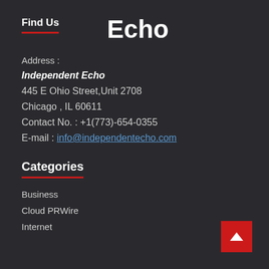Find Us
Echo
Address :
Independent Echo
445 E Ohio Street,Unit 2708
Chicago , IL 60611
Contact No. : +1(773)-654-0355
E-mail : info@independentecho.com
Categories
Business
Cloud PRWire
Internet